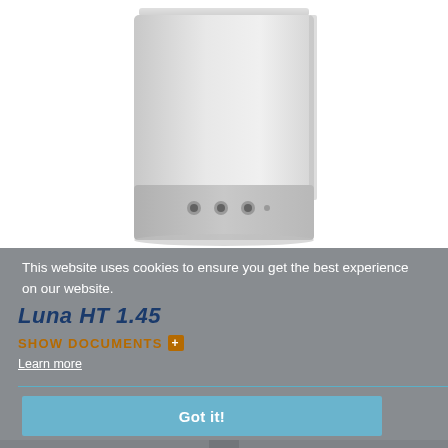[Figure (photo): White wall-mounted gas boiler unit (Luna HT 1.45) photographed against white background, showing front face with control panel at bottom]
This website uses cookies to ensure you get the best experience on our website.
Luna HT 1.45
SHOW DOCUMENTS +
Learn more
Got it!
[Figure (photo): Partial view of another boiler unit at the bottom of the page, showing top portion with mounting hardware]